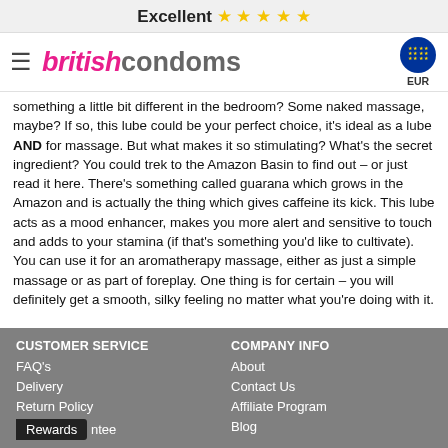Excellent ⭐⭐⭐⭐⭐
[Figure (logo): British Condoms logo with hamburger menu icon and EUR currency flag]
something a little bit different in the bedroom? Some naked massage, maybe? If so, this lube could be your perfect choice, it's ideal as a lube AND for massage. But what makes it so stimulating? What's the secret ingredient? You could trek to the Amazon Basin to find out – or just read it here. There's something called guarana which grows in the Amazon and is actually the thing which gives caffeine its kick. This lube acts as a mood enhancer, makes you more alert and sensitive to touch and adds to your stamina (if that's something you'd like to cultivate). You can use it for an aromatherapy massage, either as just a simple massage or as part of foreplay. One thing is for certain – you will definitely get a smooth, silky feeling no matter what you're doing with it.
CUSTOMER SERVICE | FAQ's | Delivery | Return Policy | Rewards [antee] || COMPANY INFO | About | Contact Us | Affiliate Program | Blog